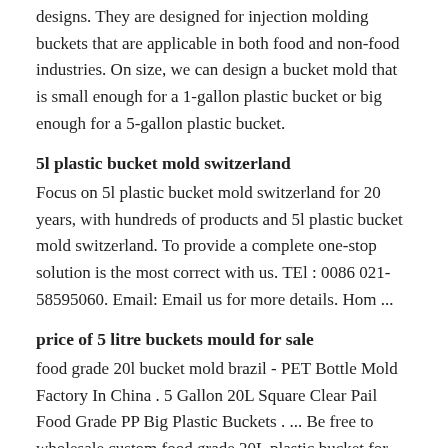designs. They are designed for injection molding buckets that are applicable in both food and non-food industries. On size, we can design a bucket mold that is small enough for a 1-gallon plastic bucket or big enough for a 5-gallon plastic bucket.
5l plastic bucket mold switzerland
Focus on 5l plastic bucket mold switzerland for 20 years, with hundreds of products and 5l plastic bucket mold switzerland. To provide a complete one-stop solution is the most correct with us. TEl : 0086 021-58595060. Email: Email us for more details. Hom ...
price of 5 litre buckets mould for sale
food grade 20l bucket mold brazil - PET Bottle Mold Factory In China . 5 Gallon 20L Square Clear Pail Food Grade PP Big Plastic Buckets . ... Be free to wholesale custom food grade 20L plastic bucket for sale from our .